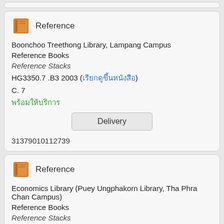Reference
Boonchoo Treethong Library, Lampang Campus
Reference Books
Reference Stacks
HG3350.7 .B3 2003 (เรียกดูขึ้นหนังสือ)
C. 7
พร้อมให้บริการ
Delivery
31379010112739
Reference
Economics Library (Puey Ungphakorn Library, Tha Phra Chan Campus)
Reference Books
Reference Stacks